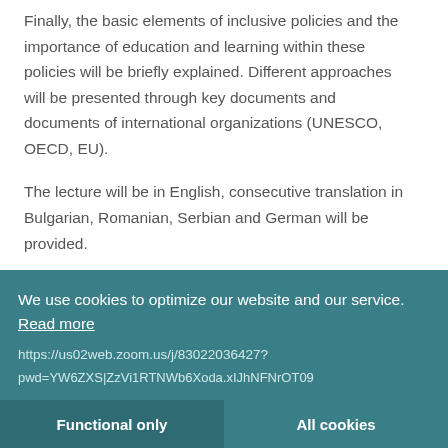Finally, the basic elements of inclusive policies and the importance of education and learning within these policies will be briefly explained. Different approaches will be presented through key documents and documents of international organizations (UNESCO, OECD, EU).
The lecture will be in English, consecutive translation in Bulgarian, Romanian, Serbian and German will be provided.
We use cookies to optimize our website and our service. Read more
https://us02web.zoom.us/j/83022036427?pwd=YW6ZXS|ZzVi1RTNWb6Xoda.xIJhNFNrOT09
Functional only
All cookies